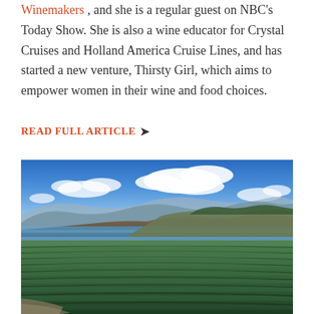featured judge on the PBS national series, The Winemakers, and she is a regular guest on NBC's Today Show. She is also a wine educator for Crystal Cruises and Holland America Cruise Lines, and has started a new venture, Thirsty Girl, which aims to empower women in their wine and food choices.
READ FULL ARTICLE ❯
[Figure (photo): Aerial panoramic photo of a vineyard with rows of grapevines in the foreground, a lake and rolling hills in the middle ground, and a blue sky with white clouds in the background.]